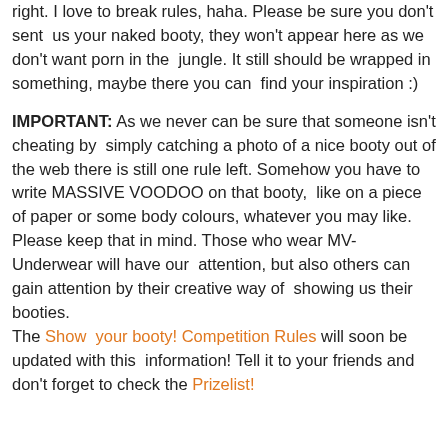right. I love to break rules, haha. Please be sure you don't sent us your naked booty, they won't appear here as we don't want porn in the jungle. It still should be wrapped in something, maybe there you can find your inspiration :)
IMPORTANT: As we never can be sure that someone isn't cheating by simply catching a photo of a nice booty out of the web there is still one rule left. Somehow you have to write MASSIVE VOODOO on that booty, like on a piece of paper or some body colours, whatever you may like. Please keep that in mind. Those who wear MV-Underwear will have our attention, but also others can gain attention by their creative way of showing us their booties. The Show your booty! Competition Rules will soon be updated with this information! Tell it to your friends and don't forget to check the Prizelist!